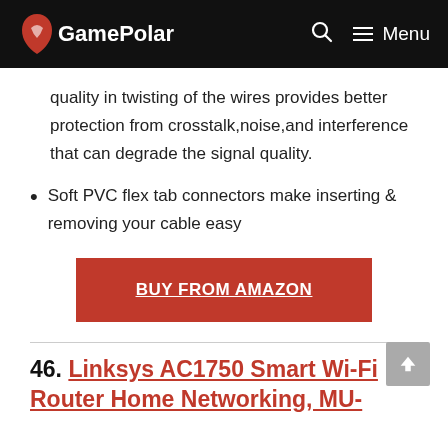GamePolar  Menu
quality in twisting of the wires provides better protection from crosstalk,noise,and interference that can degrade the signal quality.
Soft PVC flex tab connectors make inserting & removing your cable easy
BUY FROM AMAZON
46. Linksys AC1750 Smart Wi-Fi Router Home Networking, MU-